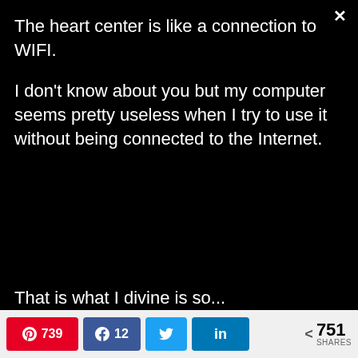×
The heart center is like a connection to WIFI.
I don't know about you but my computer seems pretty useless when I try to use it without being connected to the Internet.
That is what I divine is so...
Pinterest 739 | Facebook 12 | Twitter | LinkedIn | < 751 SHARES